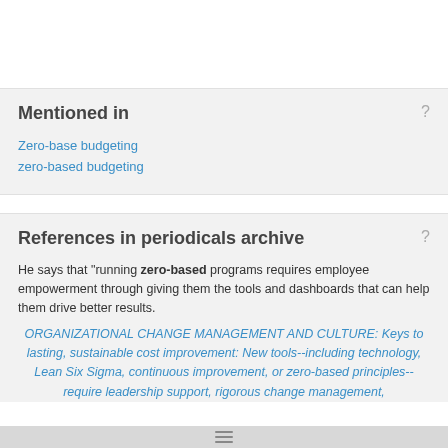Mentioned in
Zero-base budgeting
zero-based budgeting
References in periodicals archive
He says that "running zero-based programs requires employee empowerment through giving them the tools and dashboards that can help them drive better results.
ORGANIZATIONAL CHANGE MANAGEMENT AND CULTURE: Keys to lasting, sustainable cost improvement: New tools--including technology, Lean Six Sigma, continuous improvement, or zero-based principles--require leadership support, rigorous change management,